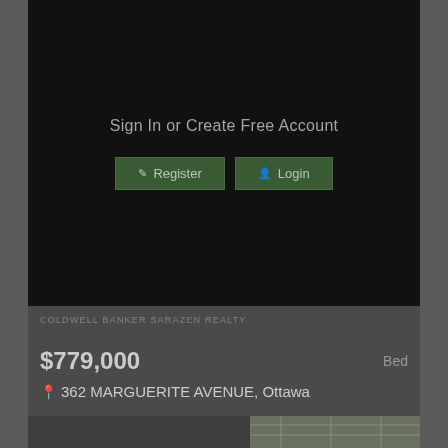[Figure (screenshot): Dark overlay on property image showing Sign In or Create Free Account prompt with Register and Login buttons]
COLDWELL BANKER SARAZEN REALTY
$779,000
Bed
362 MARGUERITE AVENUE, Ottawa